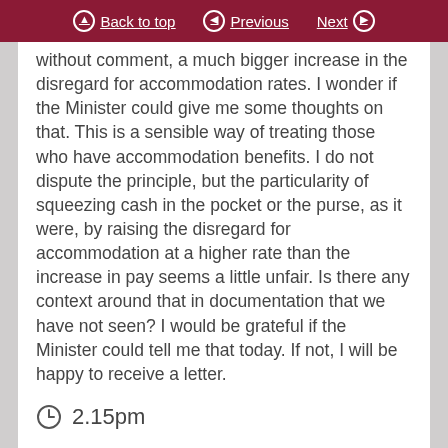Back to top | Previous | Next
without comment, a much bigger increase in the disregard for accommodation rates. I wonder if the Minister could give me some thoughts on that. This is a sensible way of treating those who have accommodation benefits. I do not dispute the principle, but the particularity of squeezing cash in the pocket or the purse, as it were, by raising the disregard for accommodation at a higher rate than the increase in pay seems a little unfair. Is there any context around that in documentation that we have not seen? I would be grateful if the Minister could tell me that today. If not, I will be happy to receive a letter.
2.15pm